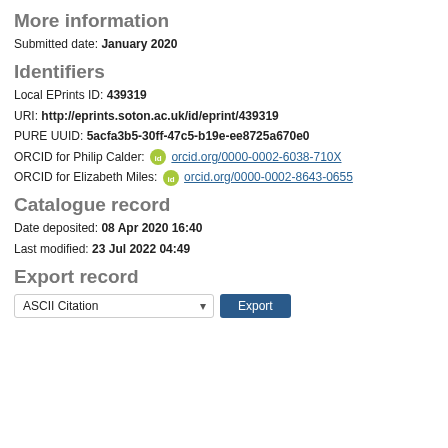More information
Submitted date: January 2020
Identifiers
Local EPrints ID: 439319
URI: http://eprints.soton.ac.uk/id/eprint/439319
PURE UUID: 5acfa3b5-30ff-47c5-b19e-ee8725a670e0
ORCID for Philip Calder: orcid.org/0000-0002-6038-710X
ORCID for Elizabeth Miles: orcid.org/0000-0002-8643-0655
Catalogue record
Date deposited: 08 Apr 2020 16:40
Last modified: 23 Jul 2022 04:49
Export record
ASCII Citation [dropdown] Export [button]